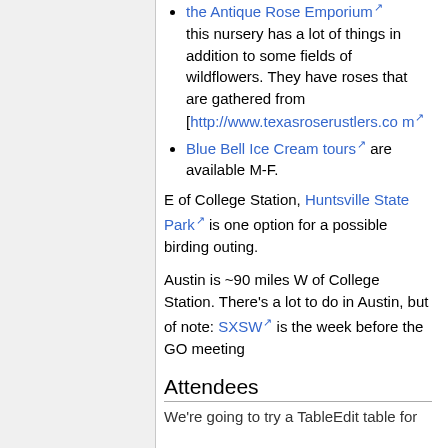the Antique Rose Emporium — this nursery has a lot of things in addition to some fields of wildflowers. They have roses that are gathered from [http://www.texasroserustlers.com
Blue Bell Ice Cream tours are available M-F.
E of College Station, Huntsville State Park is one option for a possible birding outing.
Austin is ~90 miles W of College Station. There's a lot to do in Austin, but of note: SXSW is the week before the GO meeting
Attendees
We're going to try a TableEdit table for